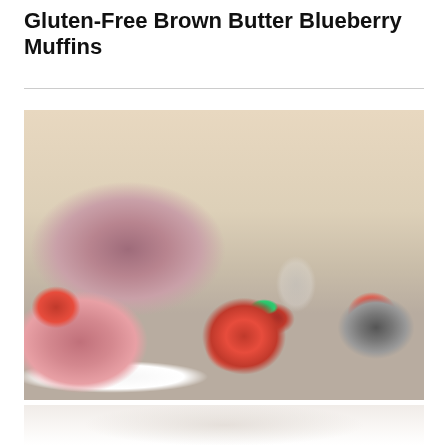Gluten-Free Brown Butter Blueberry Muffins
[Figure (photo): Food photography showing fresh strawberries, a pink ceramic baking dish with strawberries, a slice of pink strawberry cake on a white plate, a small bowl of strawberry sauce, and a glass bowl with strawberries, all arranged on a light wooden surface with a warm beige background.]